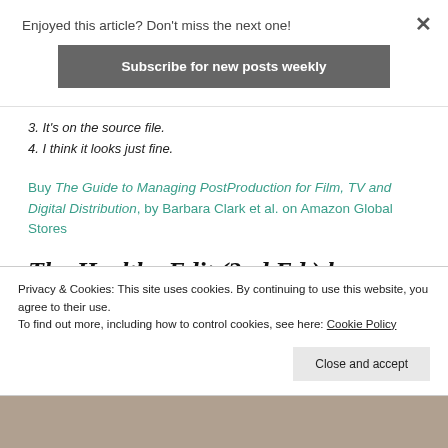Enjoyed this article? Don't miss the next one!
Subscribe for new posts weekly
3. It's on the source file.
4. I think it looks just fine.
Buy The Guide to Managing PostProduction for Film, TV and Digital Distribution, by Barbara Clark et al. on Amazon Global Stores
The Healthy Edit (2nd Ed.) by
Privacy & Cookies: This site uses cookies. By continuing to use this website, you agree to their use.
To find out more, including how to control cookies, see here: Cookie Policy
Close and accept